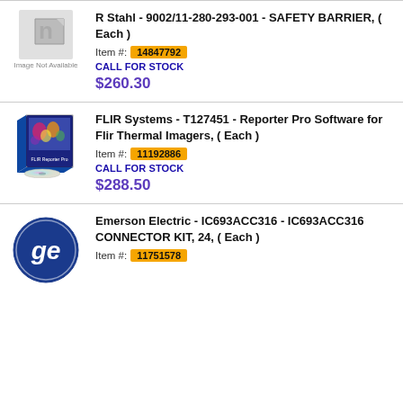R Stahl - 9002/11-280-293-001 - SAFETY BARRIER, ( Each )
Item #: 14847792
CALL FOR STOCK
$260.30
FLIR Systems - T127451 - Reporter Pro Software for Flir Thermal Imagers, ( Each )
Item #: 11192886
CALL FOR STOCK
$288.50
Emerson Electric - IC693ACC316 - IC693ACC316 CONNECTOR KIT, 24, ( Each )
Item #: 11751578